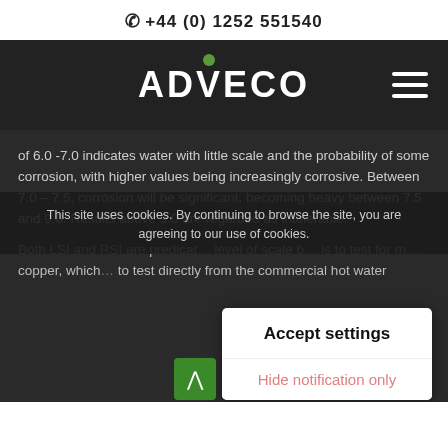+44 (0) 1252 551540
[Figure (logo): ADVECO logo in white on dark background with green circular dot above the V, plus hamburger menu icon]
of 6.0 -7.0 indicates water with little scale and the probability of some corrosion, with higher values being increasingly corrosive. Between 7.0 – 7.5, corrosion will be significant, becoming heavy between 7.5 and 9.0. Results above 9.0 are regarded as intolerable.
Both LSI and RSI are predicated on measuring the level of scale build up in a water system. Another is to test for metallic corrosion, specifically copper, which can be measured…to test directly from the commercial hot water
This site uses cookies. By continuing to browse the site, you are agreeing to our use of cookies.
Accept settings
Hide notification only